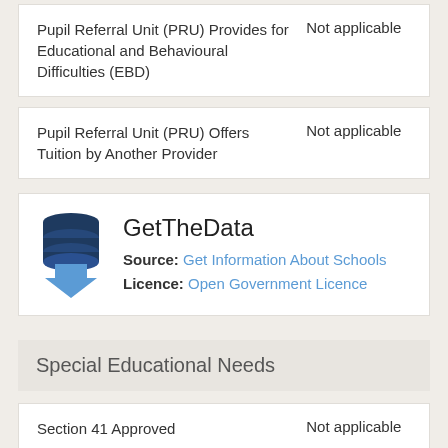| Field | Value |
| --- | --- |
| Pupil Referral Unit (PRU) Provides for Educational and Behavioural Difficulties (EBD) | Not applicable |
| Pupil Referral Unit (PRU) Offers Tuition by Another Provider | Not applicable |
[Figure (logo): GetTheData logo with database icon and download arrow]
GetTheData
Source: Get Information About Schools
Licence: Open Government Licence
Special Educational Needs
| Field | Value |
| --- | --- |
| Section 41 Approved | Not applicable |